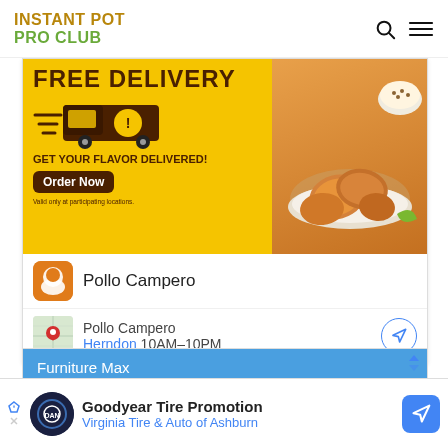INSTANT POT PRO CLUB
[Figure (advertisement): Pollo Campero FREE DELIVERY ad banner - yellow background with delivery truck and fried chicken. GET YOUR FLAVOR DELIVERED! Order Now button. Valid only at participating locations. Below: Pollo Campero logo, name, location Herndon 10AM-10PM with map thumbnail and directions button.]
[Figure (advertisement): Furniture Max ad - blue background with text 'Furniture Max' and 'Hundreds of Items In Stock']
[Figure (advertisement): Goodyear Tire Promotion - bottom bar ad. Virginia Tire & Auto of Ashburn with Goodyear logo and navigation button.]